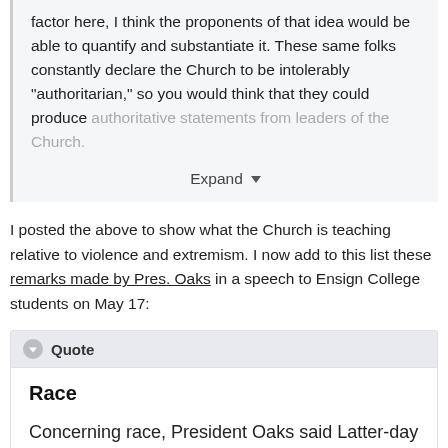factor here, I think the proponents of that idea would be able to quantify and substantiate it.  These same folks constantly declare the Church to be intolerably "authoritarian," so you would think that they could produce authoritative statements from leaders of the Church.
Expand
I posted the above to show what the Church is teaching relative to violence and extremism.  I now add to this list these remarks made by Pres. Oaks in a speech to Ensign College students on May 17:
Quote
Race
Concerning race, President Oaks said Latter-day Saints must recognize the challenges of